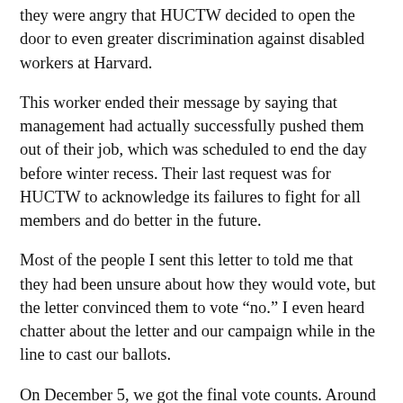they were angry that HUCTW decided to open the door to even greater discrimination against disabled workers at Harvard.
This worker ended their message by saying that management had actually successfully pushed them out of their job, which was scheduled to end the day before winter recess. Their last request was for HUCTW to acknowledge its failures to fight for all members and do better in the future.
Most of the people I sent this letter to told me that they had been unsure about how they would vote, but the letter convinced them to vote “no.” I even heard chatter about the letter and our campaign while in the line to cast our ballots.
On December 5, we got the final vote counts. Around 2,500 members, about 50 percent of our membership, voted in the election, with 147 members voting against the contract. This is a very small share of the